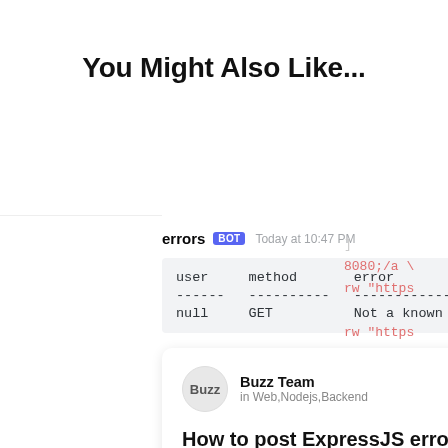You Might Also Like...
errors BOT  Today at 10:47 PM
| user | method | error |
| --- | --- | --- |
| null | GET | Not a known host |
[Figure (other): Article card with Buzz Team avatar, title 'How to post ExpressJS errors to your Discord Channel', metadata Feb 12, 1 like, 0 comments]
How to post ExpressJS errors to your Discord Channel
Feb 12   1   0